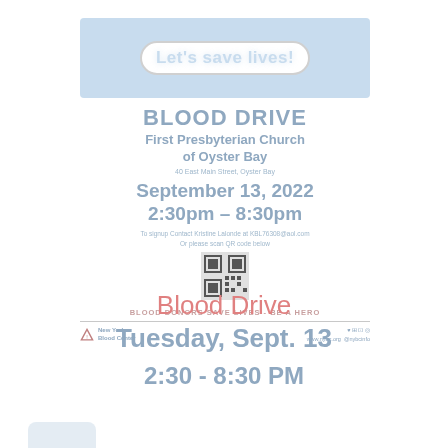[Figure (infographic): Light blue banner with 'Let's save lives!' text in white bold on a white rounded rectangle badge]
BLOOD DRIVE
First Presbyterian Church of Oyster Bay
40 East Main Street, Oyster Bay
September 13, 2022
2:30pm – 8:30pm
To signup Contact Kristine Lalonde at KBL76308@aol.com Or please scan QR code below
[Figure (other): QR code for blood drive signup]
BLOOD DONORS SAVE LIVES - BE A HERO
[Figure (logo): New York Blood Center logo with triangle/arrow icon]
♥ ⊞ ⊡ ◎
www.nybc.org @nybcinfo
Blood Drive
Tuesday, Sept. 13
2:30 - 8:30 PM